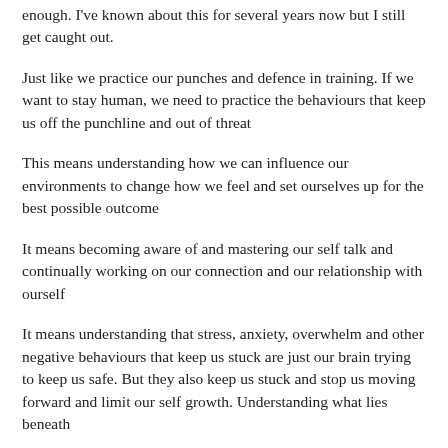enough. I've known about this for several years now but I still get caught out.
Just like we practice our punches and defence in training. If we want to stay human, we need to practice the behaviours that keep us off the punchline and out of threat
This means understanding how we can influence our environments to change how we feel and set ourselves up for the best possible outcome
It means becoming aware of and mastering our self talk and continually working on our connection and our relationship with ourself
It means understanding that stress, anxiety, overwhelm and other negative behaviours that keep us stuck are just our brain trying to keep us safe. But they also keep us stuck and stop us moving forward and limit our self growth. Understanding what lies beneath